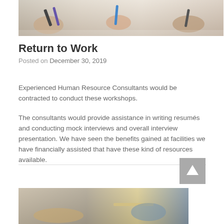[Figure (photo): Hands holding pens and writing on paper/clipboard, business meeting scene]
Return to Work
Posted on December 30, 2019
Experienced Human Resource Consultants would be contracted to conduct these workshops.
The consultants would provide assistance in writing resumés and conducting mock interviews and overall interview presentation. We have seen the benefits gained at facilities we have financially assisted that have these kind of resources available.
[Figure (photo): Blurred close-up of hands and tools or mechanical items on a surface]